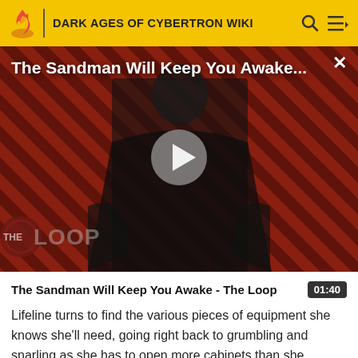DARK AGES OF CYBERTRON WIKI
[Figure (screenshot): Video thumbnail for 'The Sandman Will Keep You Awake - The Loop'. Shows a dark-clad figure against a red diagonal striped background with 'THE LOOP' watermark, a play button overlay, and the video title text at top.]
The Sandman Will Keep You Awake - The Loop
Lifeline turns to find the various pieces of equipment she knows she'll need, going right back to grumbling and snarling as she has to open more cabinets than she